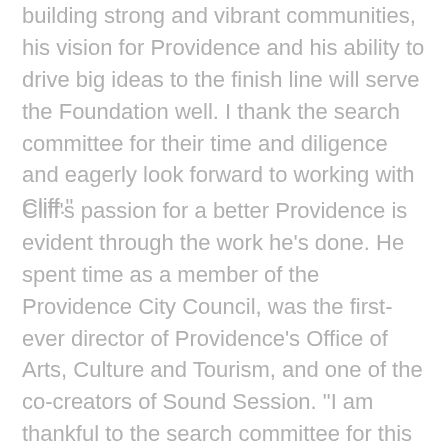building strong and vibrant communities, his vision for Providence and his ability to drive big ideas to the finish line will serve the Foundation well. I thank the search committee for their time and diligence and eagerly look forward to working with Cliff."
Cliff's passion for a better Providence is evident through the work he's done. He spent time as a member of the Providence City Council, was the first-ever director of Providence's Office of Arts, Culture and Tourism, and one of the co-creators of Sound Session. "I am thankful to the search committee for this opportunity and eager to begin as the executive director for an